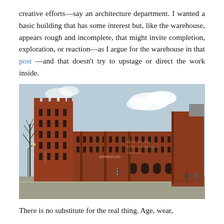creative efforts—say an architecture department. I wanted a basic building that has some interest but, like the warehouse, appears rough and incomplete, that might invite completion, exploration, or reaction—as I argue for the warehouse in that post—and that doesn't try to upstage or direct the work inside.
[Figure (photo): Photograph of the Metropolitan Storage Warehouse, a large red brick building with castle-like battlements at the top, multiple floors of narrow windows, and signage reading 'METROPOLITAN STORAGE WAREHOUSE' and 'THE ROOF'. A bare tree is visible on the left, street and intersection in foreground.]
There is no substitute for the real thing. Age, wear,